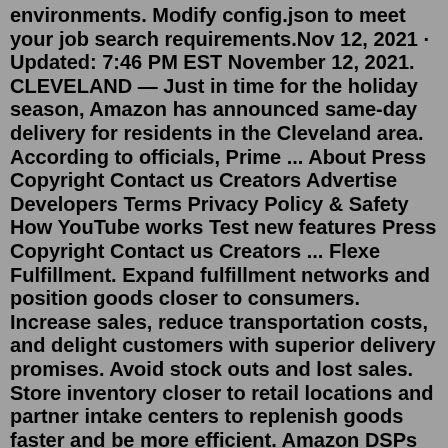environments. Modify config.json to meet your job search requirements.Nov 12, 2021 · Updated: 7:46 PM EST November 12, 2021. CLEVELAND — Just in time for the holiday season, Amazon has announced same-day delivery for residents in the Cleveland area. According to officials, Prime ... About Press Copyright Contact us Creators Advertise Developers Terms Privacy Policy & Safety How YouTube works Test new features Press Copyright Contact us Creators ... Flexe Fulfillment. Expand fulfillment networks and position goods closer to consumers. Increase sales, reduce transportation costs, and delight customers with superior delivery promises. Avoid stock outs and lost sales. Store inventory closer to retail locations and partner intake centers to replenish goods faster and be more efficient. Amazon DSPs are hiring Delivery Associates (DAs) to deliver smiles to customers every day. In a Delivery Associate role, you'll earn competitive compensation, have access to benefits offered by Amazon DSPs, have opportunities for professional growth, and so much